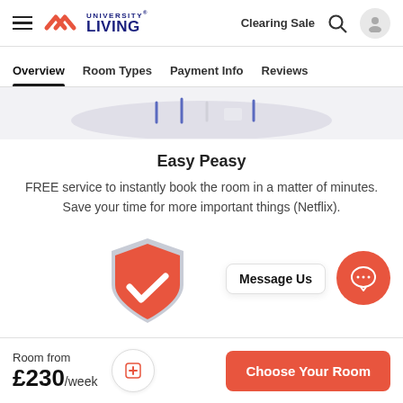[Figure (screenshot): University Living website header with hamburger menu, logo, Clearing Sale text, search icon, and user avatar]
Overview   Room Types   Payment Info   Reviews
[Figure (illustration): Partial illustration showing a circular/elliptical graphic with vertical lines]
Easy Peasy
FREE service to instantly book the room in a matter of minutes. Save your time for more important things (Netflix).
[Figure (illustration): Shield icon with checkmark in coral/salmon color, with Message Us chat bubble and orange chat button]
Room from
£230/week
Choose Your Room